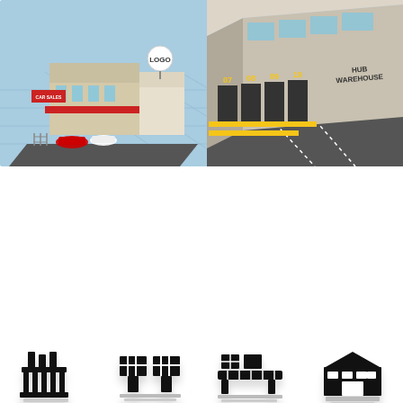[Figure (illustration): Isometric illustration of a logistics/warehouse city scene with a car dealership on the left showing 'CAR SALES' sign and a satellite dish with 'LOGO', and a large hub warehouse on the right with numbered dock doors (07, 08, 09, 10) labeled 'HUB WAREHOUSE', connected by roads.]
[Figure (infographic): Grid of 12 black logistics/supply chain icons arranged in 3 rows of 4: Row 1: factory/industrial building, pallet/shelving unit, conveyor belt with boxes, warehouse building. Row 2: airplane (air freight), envelope/mail, locked document, clipboard with hand. Row 3: globe with arrow (global shipping), factory with arrows (production), delivery truck, box with arrow (shipping/returns).]